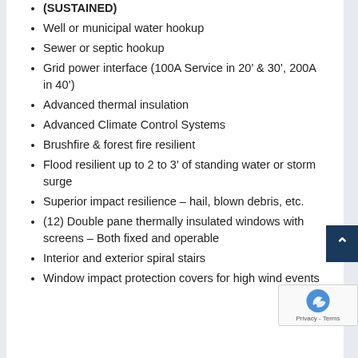(SUSTAINED)
Well or municipal water hookup
Sewer or septic hookup
Grid power interface (100A Service in 20’ & 30’, 200A in 40’)
Advanced thermal insulation
Advanced Climate Control Systems
Brushfire & forest fire resilient
Flood resilient up to 2 to 3’ of standing water or storm surge
Superior impact resilience – hail, blown debris, etc.
(12) Double pane thermally insulated windows with screens – Both fixed and operable
Interior and exterior spiral stairs
Window impact protection covers for high wind events